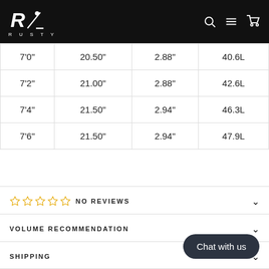RUSTY
| 7'0" | 20.50" | 2.88" | 40.6L |
| 7'2" | 21.00" | 2.88" | 42.6L |
| 7'4" | 21.50" | 2.94" | 46.3L |
| 7'6" | 21.50" | 2.94" | 47.9L |
NO REVIEWS
VOLUME RECOMMENDATION
SHIPPING